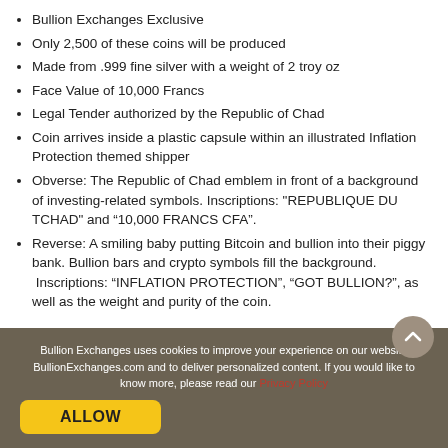Bullion Exchanges Exclusive
Only 2,500 of these coins will be produced
Made from .999 fine silver with a weight of 2 troy oz
Face Value of 10,000 Francs
Legal Tender authorized by the Republic of Chad
Coin arrives inside a plastic capsule within an illustrated Inflation Protection themed shipper
Obverse: The Republic of Chad emblem in front of a background of investing-related symbols. Inscriptions: "REPUBLIQUE DU TCHAD" and “10,000 FRANCS CFA”.
Reverse: A smiling baby putting Bitcoin and bullion into their piggy bank. Bullion bars and crypto symbols fill the background. Inscriptions: “INFLATION PROTECTION”, “GOT BULLION?”, as well as the weight and purity of the coin.
Bullion Exchanges uses cookies to improve your experience on our website BullionExchanges.com and to deliver personalized content. If you would like to know more, please read our Privacy Policy